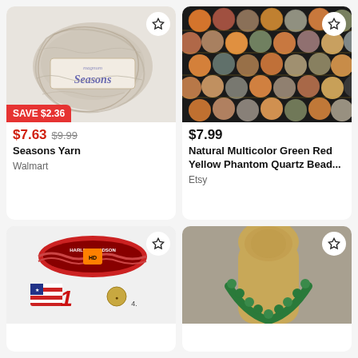[Figure (photo): Skein of gray/beige Seasons Yarn with label showing brand 'magnum Seasons']
SAVE $2.36
$7.63  $9.99
Seasons Yarn
Walmart
[Figure (photo): Close-up of multicolor natural phantom quartz beads — orange, green, red, yellow, brown spherical beads on dark background]
$7.99
Natural Multicolor Green Red Yellow Phantom Quartz Bead...
Etsy
[Figure (photo): Harley-Davidson and American flag embroidered patches on white fabric background]
[Figure (photo): Green beaded necklace on a tan mannequin bust/neck form]